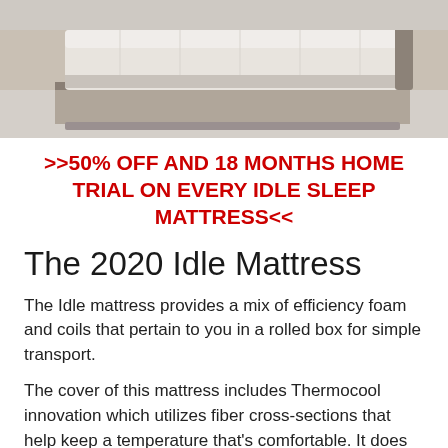[Figure (photo): Photo of a modern bed with a mattress on a platform frame, shot from a low angle showing the mattress and bed base against a light background.]
>>50% OFF AND 18 MONTHS HOME TRIAL ON EVERY IDLE SLEEP MATTRESS<<
The 2020 Idle Mattress
The Idle mattress provides a mix of efficiency foam and coils that pertain to you in a rolled box for simple transport.
The cover of this mattress includes Thermocool innovation which utilizes fiber cross-sections that help keep a temperature that's comfortable. It does this by bring heat